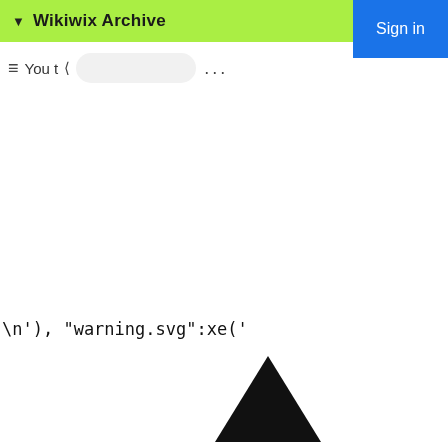▼ Wikiwix Archive
Sign in
≡  You t  ⟨  Sear  ...
\n'), "warning.svg":xe('
[Figure (illustration): A solid black upward-pointing triangle (warning/alert icon), partially visible at bottom of page]